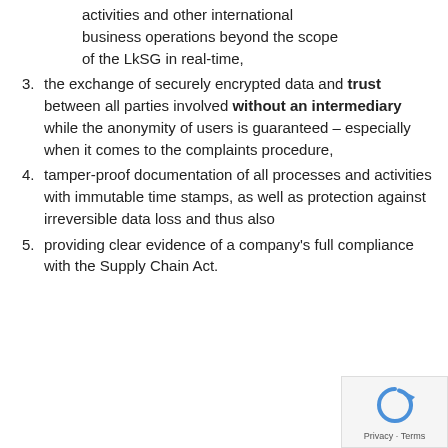activities and other international business operations beyond the scope of the LkSG in real-time,
the exchange of securely encrypted data and trust between all parties involved without an intermediary while the anonymity of users is guaranteed – especially when it comes to the complaints procedure,
tamper-proof documentation of all processes and activities with immutable time stamps, as well as protection against irreversible data loss and thus also
providing clear evidence of a company's full compliance with the Supply Chain Act.